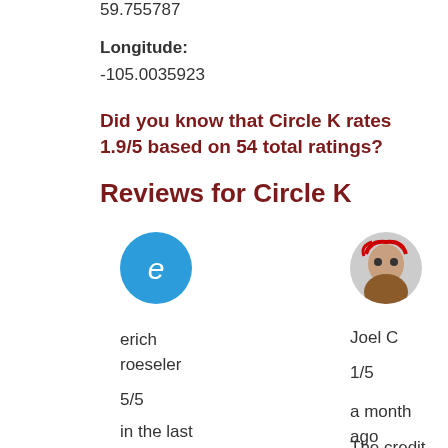59.755787
Longitude:
-105.0035923
Did you know that Circle K rates 1.9/5 based on 54 total ratings?
Reviews for Circle K
[Figure (illustration): Blue circle avatar with letter e]
[Figure (photo): Profile photo of Joel C]
erich roeseler
Joel C
1/5
5/5
a month ago
in the last week
The credit